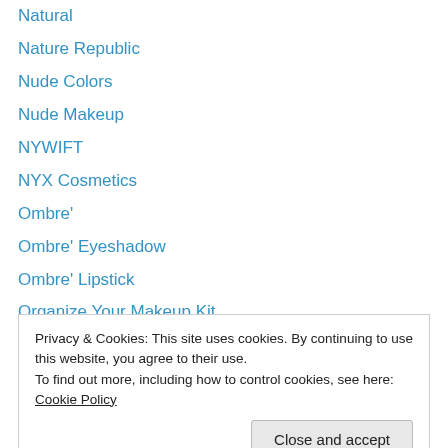Natural
Nature Republic
Nude Colors
Nude Makeup
NYWIFT
NYX Cosmetics
Ombre'
Ombre' Eyeshadow
Ombre' Lipstick
Organize Your Makeup Kit
Organized Makeup Artist
Organizing Your Home Makeup Supplies
Oscar Winning Actress
Privacy & Cookies: This site uses cookies. By continuing to use this website, you agree to their use. To find out more, including how to control cookies, see here: Cookie Policy
Preventing Makeup Meltdowns